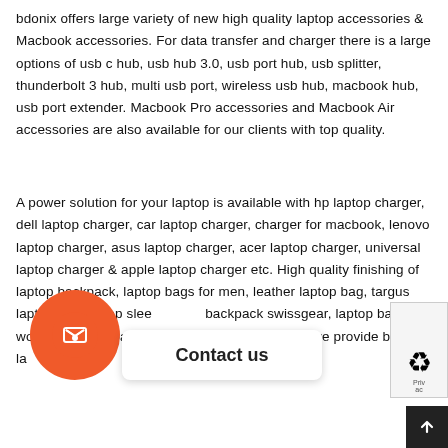bdonix offers large variety of new high quality laptop accessories & Macbook accessories. For data transfer and charger there is a large options of usb c hub, usb hub 3.0, usb port hub, usb splitter, thunderbolt 3 hub, multi usb port, wireless usb hub, macbook hub, usb port extender. Macbook Pro accessories and Macbook Air accessories are also available for our clients with top quality.
A power solution for your laptop is available with hp laptop charger, dell laptop charger, car laptop charger, charger for macbook, lenovo laptop charger, asus laptop charger, acer laptop charger, universal laptop charger & apple laptop charger etc. High quality finishing of laptop backpack, laptop bags for men, leather laptop bag, targus laptop bag, aptop sleeve backpack swissgear, laptop bag for women, laptop bags available. we provide best laptop bags online.